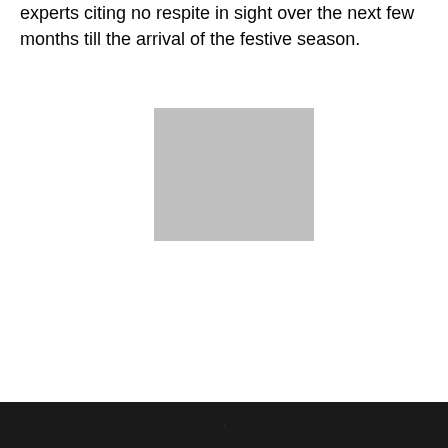experts citing no respite in sight over the next few months till the arrival of the festive season.
[Figure (photo): A gray rectangular placeholder image in the center of the page.]
.